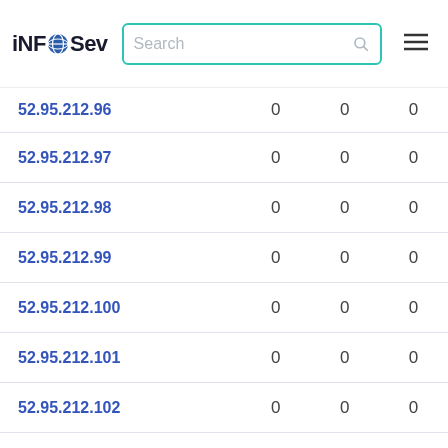iNFOSev [search bar] [hamburger menu]
| 52.95.212.96 | 0 | 0 | 0 |
| 52.95.212.97 | 0 | 0 | 0 |
| 52.95.212.98 | 0 | 0 | 0 |
| 52.95.212.99 | 0 | 0 | 0 |
| 52.95.212.100 | 0 | 0 | 0 |
| 52.95.212.101 | 0 | 0 | 0 |
| 52.95.212.102 | 0 | 0 | 0 |
| 52.95.212.103 | 0 | 0 | 0 |
| 52.95.212.104 | 0 | 0 | 0 |
| 52.95.212.105 | 0 | 0 | 0 |